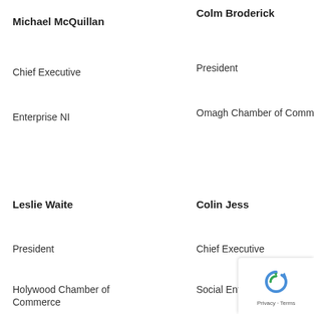Michael McQuillan
Chief Executive
Enterprise NI
Colm Broderick
President
Omagh Chamber of Commerce
Leslie Waite
President
Holywood Chamber of Commerce
Colin Jess
Chief Executive
Social Enterpr...